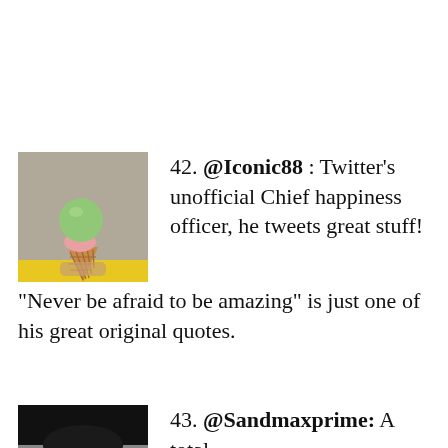42. @Iconic88 : Twitter’s unofficial Chief happiness officer, he tweets great stuff! “Never be afraid to be amazing” is just one of his great original quotes.
[Figure (photo): Ice cream cone with green and pink scoops held by hand, yellow background]
43. @Sandmaxprime: A total
[Figure (photo): Profile photo partially visible, dark hair]